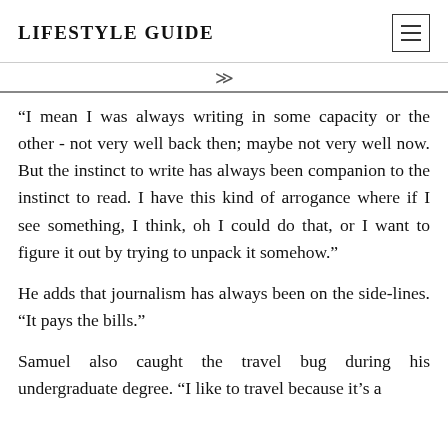LIFESTYLE GUIDE
“I mean I was always writing in some capacity or the other - not very well back then; maybe not very well now. But the instinct to write has always been companion to the instinct to read. I have this kind of arrogance where if I see something, I think, oh I could do that, or I want to figure it out by trying to unpack it somehow.”
He adds that journalism has always been on the side-lines. “It pays the bills.”
Samuel also caught the travel bug during his undergraduate degree. “I like to travel because it’s a